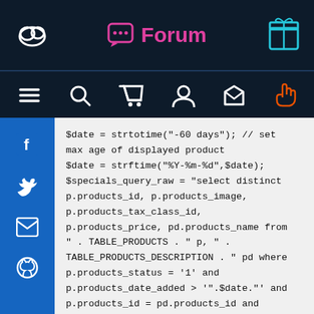Forum
[Figure (screenshot): Forum website header with logo icons and navigation bar with icons for menu, search, cart, user, home, and hand/pointer]
[Figure (screenshot): Social media sidebar with Facebook, Twitter, email, and GitHub icons on blue background]
$date = strtotime("-60 days"); // set max age of displayed product
$date = strftime("%Y-%m-%d",$date);
$specials_query_raw = "select distinct p.products_id, p.products_image, p.products_tax_class_id, p.products_price, pd.products_name from " . TABLE_PRODUCTS . " p, " . TABLE_PRODUCTS_DESCRIPTION . " pd where p.products_status = '1' and p.products_date_added > '".$date."' and p.products_id = pd.products_id and pd.language_id = '" . (int)$languages_id . "' order by p.products_date_added desc limit " . $limit_product_number;